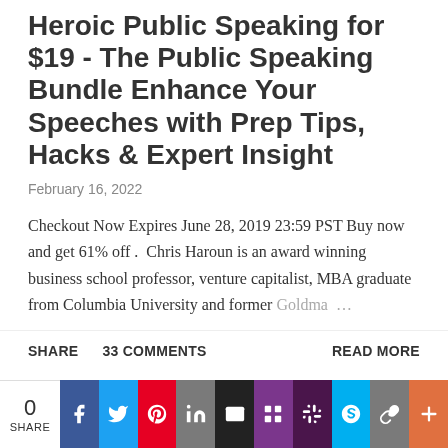Heroic Public Speaking for $19 - The Public Speaking Bundle Enhance Your Speeches with Prep Tips, Hacks & Expert Insight
February 16, 2022
Checkout Now Expires June 28, 2019 23:59 PST Buy now and get 61% off . Chris Haroun is an award winning business school professor, venture capitalist, MBA graduate from Columbia University and former Goldma…
SHARE   33 COMMENTS   READ MORE